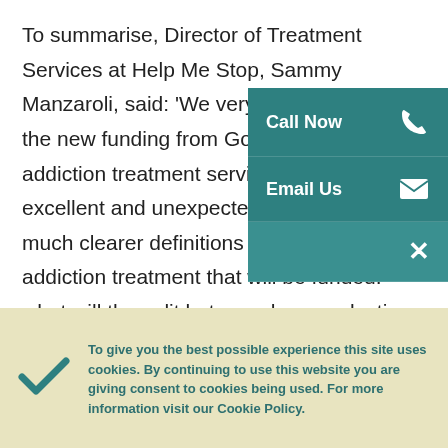To summarise, Director of Treatment Services at Help Me Stop, Sammy Manzaroli, said: 'We very much welcome the new funding from Government for addiction treatment services, which is excellent and unexpected. We welcome much clearer definitions around the addiction treatment that will be funded: what will the split between harm reduction services and abstinence-based services? We also think it's a regressive step to associate addiction so strongly with criminality, rather than a primary focus on addiction as a healthcare issue. We should not
[Figure (infographic): Teal sidebar panel with 'Call Now' (phone icon), 'Email Us' (envelope icon), and a close (×) button]
To give you the best possible experience this site uses cookies. By continuing to use this website you are giving consent to cookies being used. For more information visit our Cookie Policy.